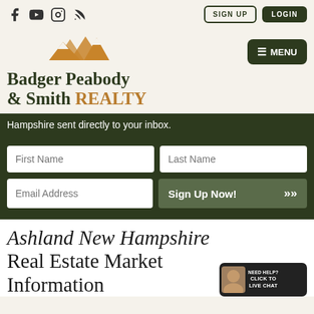[Figure (logo): Social media icons: Facebook, YouTube, Instagram, RSS feed]
[Figure (logo): SIGN UP and LOGIN buttons in header]
[Figure (logo): Badger Peabody & Smith Realty logo with mountain SVG icon and MENU button]
Hampshire sent directly to your inbox.
[Figure (screenshot): Email signup form with First Name, Last Name, Email Address fields and Sign Up Now! button]
Ashland New Hampshire Real Estate Market Information
[Figure (photo): Live chat widget with agent photo and NEED HELP? CLICK TO LIVE CHAT text]